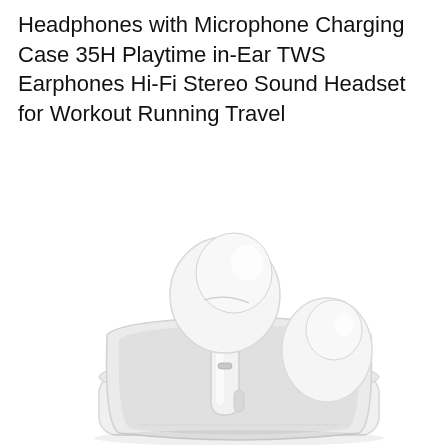Headphones with Microphone Charging Case 35H Playtime in-Ear TWS Earphones Hi-Fi Stereo Sound Headset for Workout Running Travel
[Figure (photo): White TWS wireless earbuds partially out of a white charging case. One earbud is upright showing the speaker housing, stem, and microphone port. The other earbud is nestled in the open case alongside the case body on a white background.]